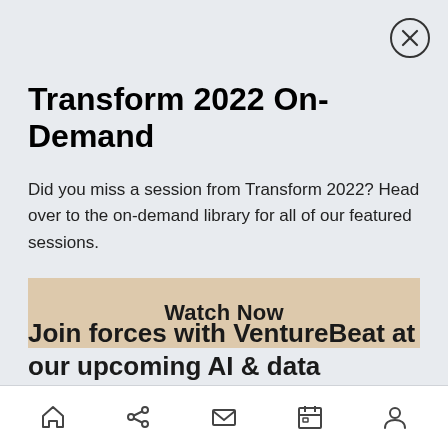Transform 2022 On-Demand
Did you miss a session from Transform 2022? Head over to the on-demand library for all of our featured sessions.
Watch Now
Join forces with VentureBeat at our upcoming AI & data
Home, Share, Mail, Calendar, Profile icons